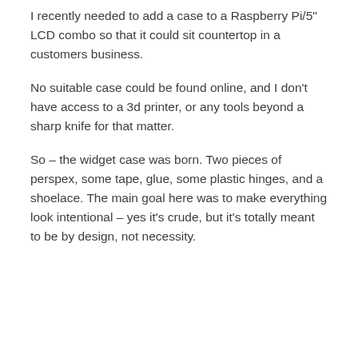I recently needed to add a case to a Raspberry Pi/5" LCD combo so that it could sit countertop in a customers business.
No suitable case could be found online, and I don't have access to a 3d printer, or any tools beyond a sharp knife for that matter.
So – the widget case was born. Two pieces of perspex, some tape, glue, some plastic hinges, and a shoelace. The main goal here was to make everything look intentional – yes it's crude, but it's totally meant to be by design, not necessity.